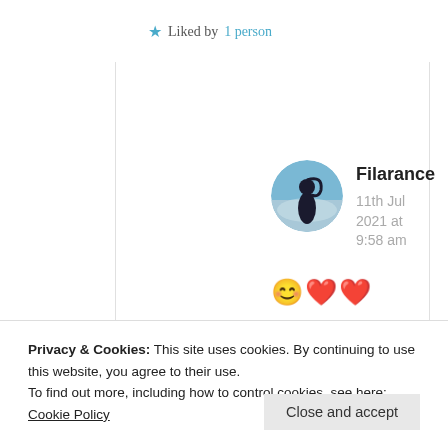★ Liked by 1 person
[Figure (photo): Circular avatar of user Filarance showing a silhouette figure against a blue sky background]
Filarance
11th Jul 2021 at 9:58 am
😊❤️❤️
★ Liked by 1 person
Privacy & Cookies: This site uses cookies. By continuing to use this website, you agree to their use.
To find out more, including how to control cookies, see here: Cookie Policy
Close and accept